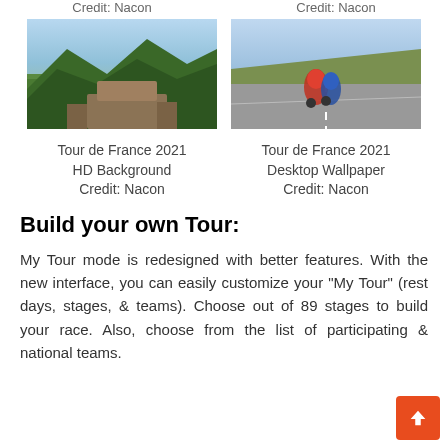Credit: Nacon
Credit: Nacon
[Figure (photo): Tour de France 2021 HD Background landscape screenshot]
Tour de France 2021 HD Background
Credit: Nacon
[Figure (photo): Tour de France 2021 Desktop Wallpaper cycling screenshot]
Tour de France 2021 Desktop Wallpaper
Credit: Nacon
Build your own Tour:
My Tour mode is redesigned with better features. With the new interface, you can easily customize your "My Tour" (rest days, stages, & teams). Choose out of 89 stages to build your race. Also, choose from the list of participating & national teams.